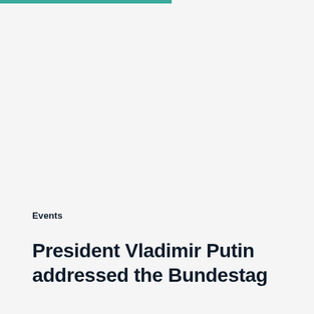Events
President Vladimir Putin addressed the Bundestag